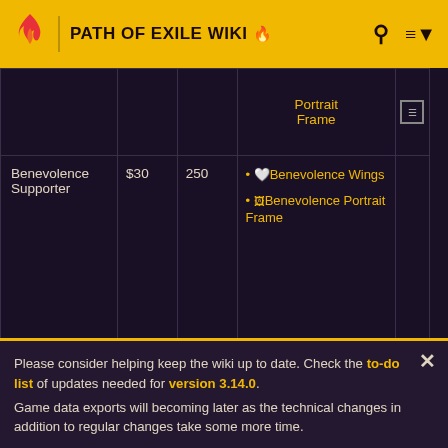PATH OF EXILE WIKI
|  |  |  | Portrait Frame |  |
| --- | --- | --- | --- | --- |
| Benevolence Supporter | $30 | 250 | Benevolence Wings
Benevolence Portrait Frame |  |
| Divine Benevolence | $60 | 550 | Divine Benevolence |  |
Please consider helping keep the wiki up to date. Check the to-do list of updates needed for version 3.14.0. Game data exports will becoming later as the technical changes in addition to regular changes take some more time.